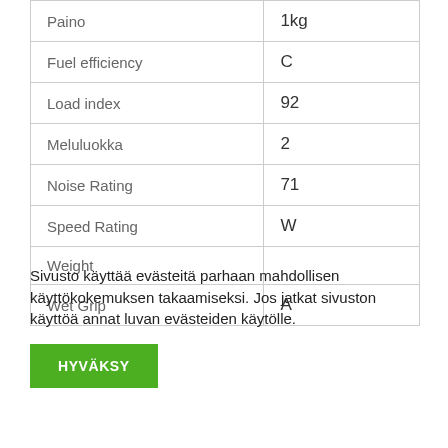| Property | Value |
| --- | --- |
| Paino | 1kg |
| Fuel efficiency | C |
| Load index | 92 |
| Meluluokka | 2 |
| Noise Rating | 71 |
| Speed Rating | W |
| Weight |  |
| Wet Grip | A |
Sivusto käyttää evästeitä parhaan mahdollisen käyttökokemuksen takaamiseksi. Jos jatkat sivuston käyttöä annat luvan evästeiden käytölle.
HYVÄKSY